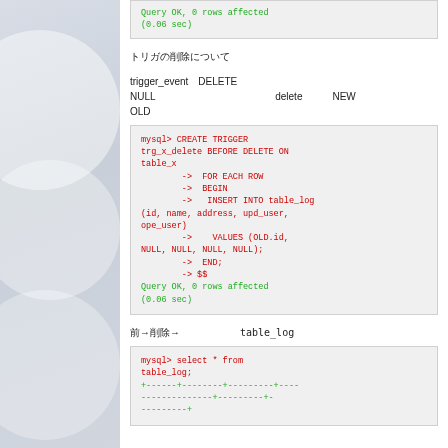Query OK, 0 rows affected
(0.06 sec)
トリガの削除について
trigger_eventにDELETEを指定したトリガを作成してみます。NULLを設定します。deleteではNEWは使えずOLDのみとなります。
mysql> CREATE TRIGGER trg_x_delete BEFORE DELETE ON table_x
    ->  FOR EACH ROW
    ->  BEGIN
    ->   INSERT INTO table_log (id, name, address, upd_user, ope_user)
    ->    VALUES (OLD.id, NULL, NULL, NULL, NULL);
    ->  END;
    -> $$
Query OK, 0 rows affected
(0.06 sec)
前→削除→削除後にtable_logに記録されるか確認します。
mysql> select * from table_log;
+-------+--------+---------+----
--------------+----------+-
---------+